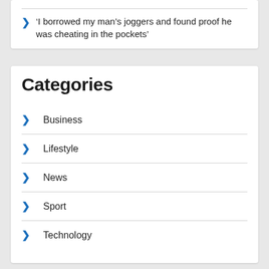‘I borrowed my man’s joggers and found proof he was cheating in the pockets’
Categories
Business
Lifestyle
News
Sport
Technology